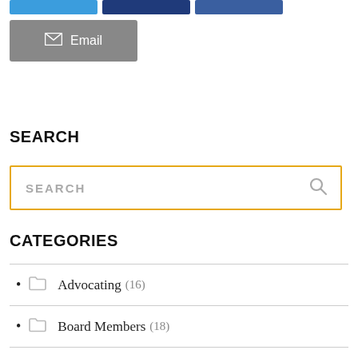[Figure (screenshot): Row of three social sharing buttons (blue, dark blue, medium blue) at the top of the page]
[Figure (screenshot): Gray Email button with envelope icon]
SEARCH
[Figure (screenshot): Search input box with orange/gold border and magnifying glass icon, placeholder text SEARCH]
CATEGORIES
Advocating (16)
Board Members (18)
Corporate Partners (16)